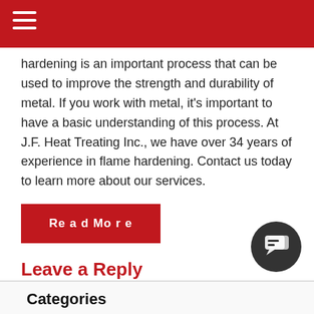hardening is an important process that can be used to improve the strength and durability of metal. If you work with metal, it's important to have a basic understanding of this process. At J.F. Heat Treating Inc., we have over 34 years of experience in flame hardening. Contact us today to learn more about our services.
Read More
Leave a Reply
You must be logged in to post a comment.
← What Is Metallography?
What Are the Advantages of Induction H… →
Categories